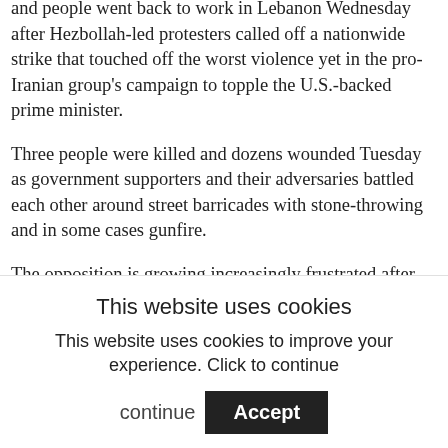BEIRUT, Lebanon (AP) — Children returned to school and people went back to work in Lebanon Wednesday after Hezbollah-led protesters called off a nationwide strike that touched off the worst violence yet in the pro-Iranian group's campaign to topple the U.S.-backed prime minister.
Three people were killed and dozens wounded Tuesday as government supporters and their adversaries battled each other around street barricades with stone-throwing and in some cases gunfire.
The opposition is growing increasingly frustrated after two months of sit-in protests outside Prime Minister Fuad Saniora's offices. Hezbollah wants him to step.
This website uses cookies
This website uses cookies to improve your experience. Click to continue
Accept